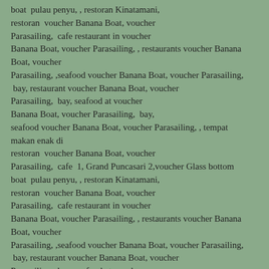boat  pulau penyu, , restoran Kinatamani, restoran  voucher Banana Boat, voucher Parasailing,  cafe restaurant in voucher Banana Boat, voucher Parasailing, , restaurants voucher Banana Boat, voucher Parasailing, ,seafood voucher Banana Boat, voucher Parasailing,  bay, restaurant voucher Banana Boat, voucher Parasailing,  bay, seafood at voucher Banana Boat, voucher Parasailing,  bay, seafood voucher Banana Boat, voucher Parasailing, , tempat makan enak di restoran  voucher Banana Boat, voucher Parasailing,  cafe  1, Grand Puncasari 2,voucher Glass bottom boat  pulau penyu, , restoran Kinatamani, restoran  voucher Banana Boat, voucher Parasailing,  cafe restaurant in voucher Banana Boat, voucher Parasailing, , restaurants voucher Banana Boat, voucher Parasailing, ,seafood voucher Banana Boat, voucher Parasailing,  bay, restaurant voucher Banana Boat, voucher Parasailing,  bay, seafood at voucher Banana Boat, voucher Parasailing,  bay, seafood voucher Banana Boat, voucher Parasailing, , dan untuk beberapa resto di Restoran  voucher Banana Boat, voucher Parasailing,  cafe 1, Grand Puncasari 2,voucher Glass bottom boat